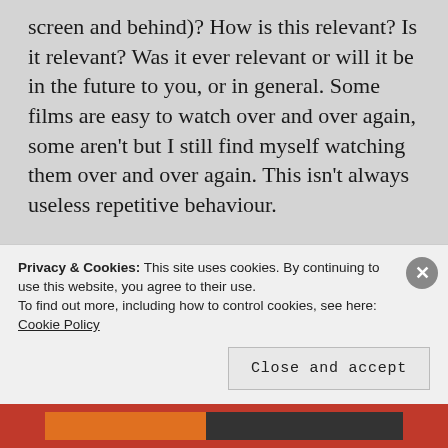screen and behind)? How is this relevant? Is it relevant? Was it ever relevant or will it be in the future to you, or in general. Some films are easy to watch over and over again, some aren't but I still find myself watching them over and over again. This isn't always useless repetitive behaviour.
You probably started with a scene from one film and maybe changed
Privacy & Cookies: This site uses cookies. By continuing to use this website, you agree to their use.
To find out more, including how to control cookies, see here: Cookie Policy
Close and accept